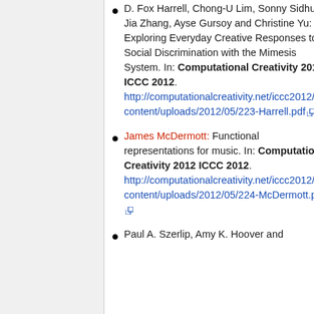D. Fox Harrell, Chong-U Lim, Sonny Sidhu, Jia Zhang, Ayse Gursoy and Christine Yu: Exploring Everyday Creative Responses to Social Discrimination with the Mimesis System. In: Computational Creativity 2012 ICCC 2012. http://computationalcreativity.net/iccc2012/wp-content/uploads/2012/05/223-Harrell.pdf
James McDermott: Functional representations for music. In: Computational Creativity 2012 ICCC 2012. http://computationalcreativity.net/iccc2012/wp-content/uploads/2012/05/224-McDermott.pdf
Paul A. Szerlip, Amy K. Hoover and